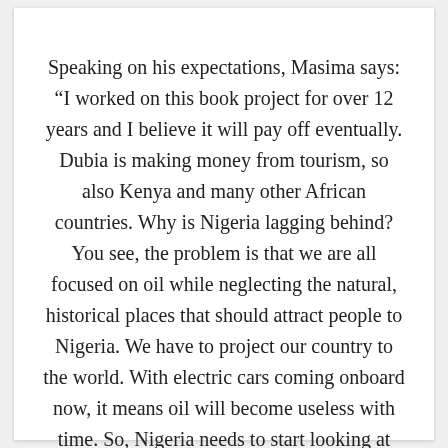Speaking on his expectations, Masima says: “I worked on this book project for over 12 years and I believe it will pay off eventually. Dubia is making money from tourism, so also Kenya and many other African countries. Why is Nigeria lagging behind? You see, the problem is that we are all focused on oil while neglecting the natural, historical places that should attract people to Nigeria. We have to project our country to the world. With electric cars coming onboard now, it means oil will become useless with time. So, Nigeria needs to start looking at tourism as a